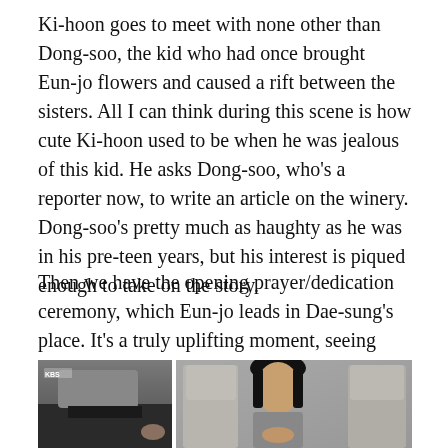Ki-hoon goes to meet with none other than Dong-soo, the kid who had once brought Eun-jo flowers and caused a rift between the sisters. All I can think during this scene is how cute Ki-hoon used to be when he was jealous of this kid. He asks Dong-soo, who's a reporter now, to write an article on the winery. Dong-soo's pretty much as haughty as he was in his pre-teen years, but his interest is piqued enough to take on the story.
Then we have the opening prayer/dedication ceremony, which Eun-jo leads in Dae-sung's place. It's a truly uplifting moment, seeing Eun-jo take her place as Dae-sung's successor, and the intercutting between Dae-sung and Eun-jo doing the same actions is a nice touch.
[Figure (photo): A photo showing people bowing their heads, apparently during a prayer or dedication ceremony. On the left side a person in dark clothing with 'KBS' visible. Center shows a young woman with dark hair bowing. Right side shows people in light gray/beige jackets.]